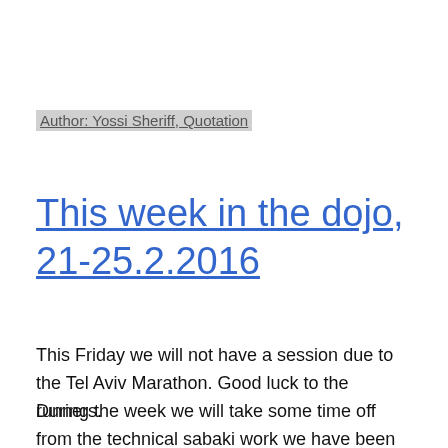Author: Yossi Sheriff, Quotation
This week in the dojo, 21-25.2.2016
This Friday we will not have a session due to the Tel Aviv Marathon. Good luck to the runners.
During the week we will take some time off from the technical sabaki work we have been doing and work strangulation techniques and their counters. We will